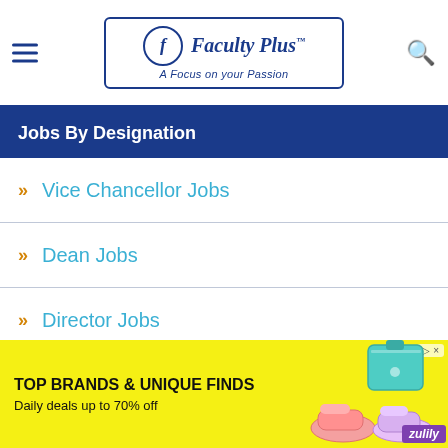Faculty Plus – A Focus on your Passion
Jobs By Designation
Vice Chancellor Jobs
Dean Jobs
Director Jobs
Principal Jobs
HOD Jobs
Professor Jobs
[Figure (infographic): Advertisement banner: TOP BRANDS & UNIQUE FINDS – Daily deals up to 70% off. Zulily ad with shoes and bag images on yellow background.]